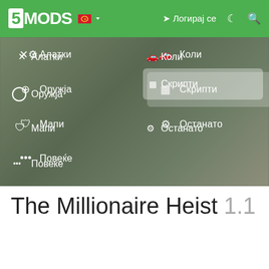[Figure (screenshot): 5mods website navigation bar with green header showing logo, flag selector, login button. Below is a blurred hero image with an open dropdown navigation menu showing categories in Macedonian: Алатки, Оружја, Мапи, Повеќе (left column), Коли, Скрипти (highlighted), Останато (middle column), Скинови, Играч, Форуми (right column).]
The Millionaire Heist 1.1